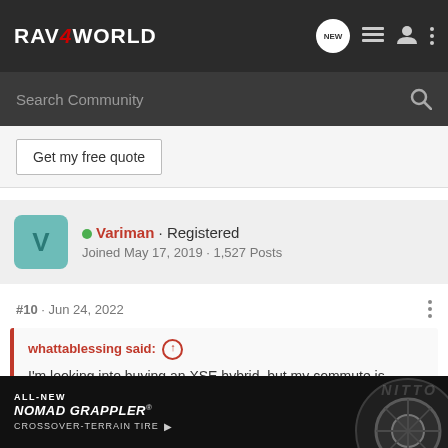RAV4WORLD
Search Community
Get my free quote
Variman · Registered
Joined May 17, 2019 · 1,527 Posts
#10 · Jun 24, 2022
whattablessing said:
I'm looking into buying an XSE hybrid, but my commute is mostly freeway, little traffic. What kind of mpg should I expect?
I have an XSE. I live in Florida (flat roads) so the A/C is on all the time, carry about 2... need is
[Figure (screenshot): ALL-NEW NOMAD GRAPPLER CROSSOVER-TERRAIN TIRE advertisement with NITTO logo and tire image]